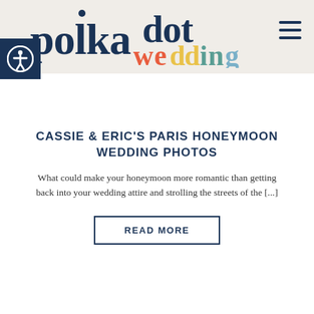[Figure (logo): Polkadot Wedding logo in dark navy and multicolor serif/sans lettering]
CASSIE & ERIC'S PARIS HONEYMOON WEDDING PHOTOS
What could make your honeymoon more romantic than getting back into your wedding attire and strolling the streets of the [...]
READ MORE